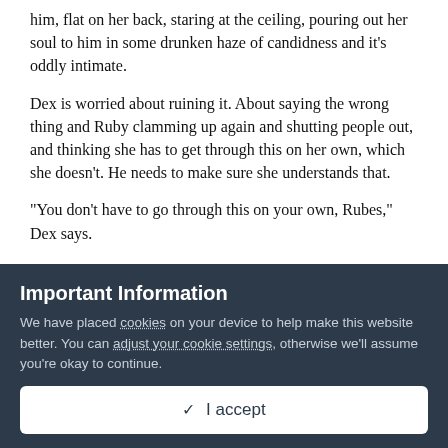him, flat on her back, staring at the ceiling, pouring out her soul to him in some drunken haze of candidness and it's oddly intimate.
Dex is worried about ruining it. About saying the wrong thing and Ruby clamming up again and shutting people out, and thinking she has to get through this on her own, which she doesn't. He needs to make sure she understands that.
“You don’t have to go through this on your own, Rubes,” Dex says.
“Yes, I do,” Ruby replies, voice hard and thick and maybe she actually hasn’t finished crying after all. “There’s no one else, Dex, what part of that don’t you get? I don’t have a family any more. I don’t have a mum, and I can’t do anything about that.” She’s
Important Information
We have placed cookies on your device to help make this website better. You can adjust your cookie settings, otherwise we'll assume you're okay to continue.
✓ I accept